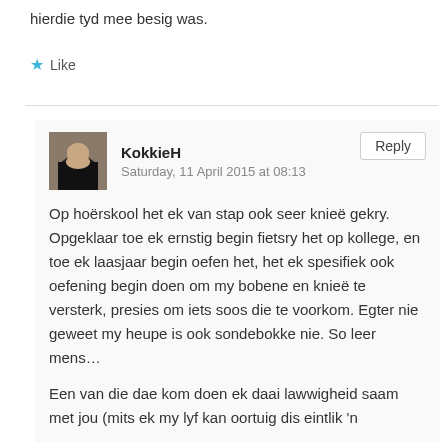hierdie tyd mee besig was.
★ Like
KokkieH
Saturday, 11 April 2015 at 08:13
Op hoërskool het ek van stap ook seer knieë gekry. Opgeklaar toe ek ernstig begin fietsry het op kollege, en toe ek laasjaar begin oefen het, het ek spesifiek ook oefening begin doen om my bobene en knieë te versterk, presies om iets soos die te voorkom. Egter nie geweet my heupe is ook sondebokke nie. So leer mens…
Een van die dae kom doen ek daai lawwigheid saam met jou (mits ek my lyf kan oortuig dis eintlik 'n